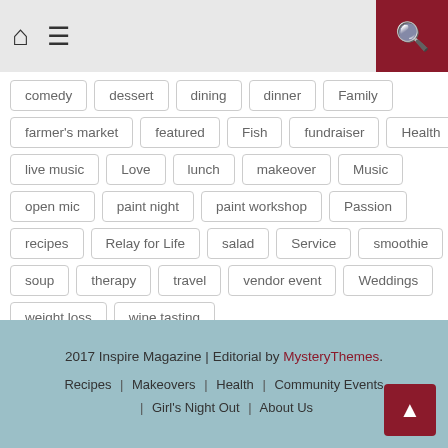Home | Menu | Search
comedy
dessert
dining
dinner
Family
farmer's market
featured
Fish
fundraiser
Health
live music
Love
lunch
makeover
Music
open mic
paint night
paint workshop
Passion
recipes
Relay for Life
salad
Service
smoothie
soup
therapy
travel
vendor event
Weddings
weight loss
wine tasting
2017 Inspire Magazine | Editorial by MysteryThemes. Recipes | Makeovers | Health | Community Events | Girl's Night Out | About Us